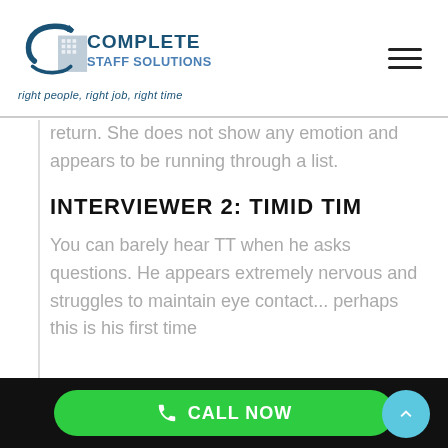Complete Staff Solutions — right people, right job, right time
return. She does not show any emotion and appears to be running through a list.
INTERVIEWER 2: TIMID TIM
You can barely hear TT when he asks questions. He appears extremely nervous and struggles to maintain eye contact... perhaps this is his first time
CALL NOW